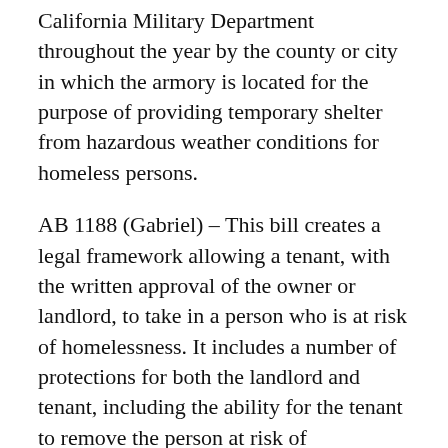California Military Department throughout the year by the county or city in which the armory is located for the purpose of providing temporary shelter from hazardous weather conditions for homeless persons.
AB 1188 (Gabriel) – This bill creates a legal framework allowing a tenant, with the written approval of the owner or landlord, to take in a person who is at risk of homelessness. It includes a number of protections for both the landlord and tenant, including the ability for the tenant to remove the person at risk of homelessness on short notice.
AB 1197 (Santiago) – This bill provides a CEQA exemption for supportive housing and shelters in the City of Los Angeles.